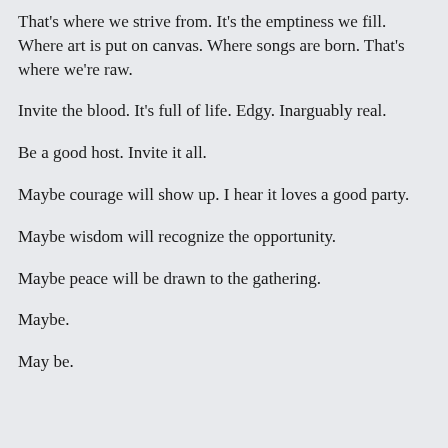That's where we strive from. It's the emptiness we fill. Where art is put on canvas. Where songs are born. That's where we're raw.
Invite the blood. It's full of life. Edgy. Inarguably real.
Be a good host. Invite it all.
Maybe courage will show up. I hear it loves a good party.
Maybe wisdom will recognize the opportunity.
Maybe peace will be drawn to the gathering.
Maybe.
May be.